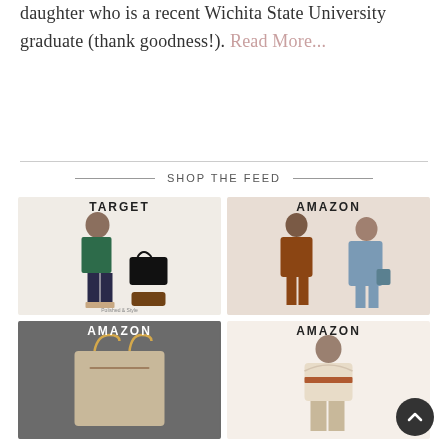daughter who is a recent Wichita State University graduate (thank goodness!). Read More...
SHOP THE FEED
[Figure (other): TARGET branded fashion collage showing woman in green turtleneck, dark jeans, black handbag, and leopard slides]
[Figure (other): AMAZON branded fashion collage showing two women in dresses, a rust-colored oversized top and a blue flowy dress]
[Figure (other): AMAZON branded product image of a grey tote bag with gold chain strap on dark background]
[Figure (other): AMAZON branded fashion collage showing a woman in a cream/rust hoodie and beige pants]